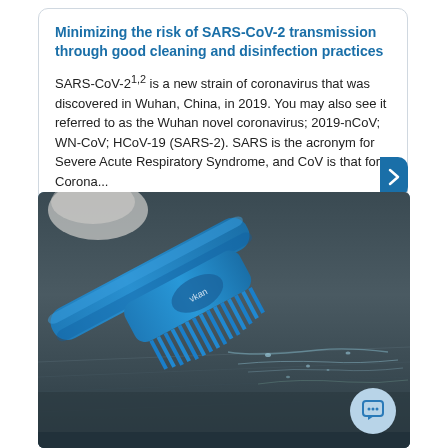Minimizing the risk of SARS-CoV-2 transmission through good cleaning and disinfection practices
SARS-CoV-21,2 is a new strain of coronavirus that was discovered in Wuhan, China, in 2019. You may also see it referred to as the Wuhan novel coronavirus; 2019-nCoV; WN-CoV; HCoV-19 (SARS-2). SARS is the acronym for Severe Acute Respiratory Syndrome, and CoV is that for Corona...
[Figure (photo): A blue cleaning brush with stiff bristles scrubbing a stainless steel surface with water droplets and streaks visible.]